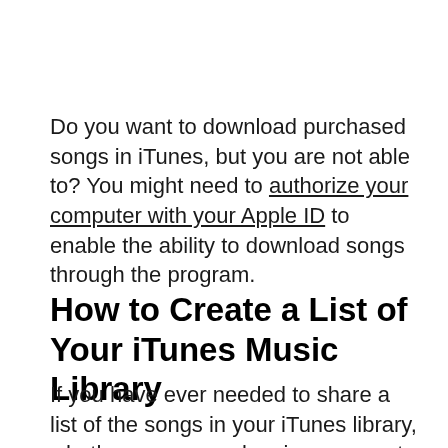Do you want to download purchased songs in iTunes, but you are not able to? You might need to authorize your computer with your Apple ID to enable the ability to download songs through the program.
How to Create a List of Your iTunes Music Library
If you have ever needed to share a list of the songs in your iTunes library, whether you were planning an event, or were making a playlist of CD for someone, then you may have been